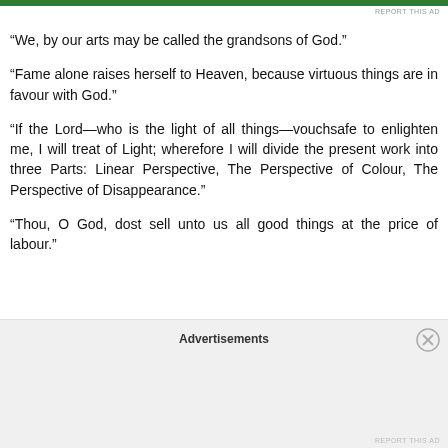“We, by our arts may be called the grandsons of God.”
“Fame alone raises herself to Heaven, because virtuous things are in favour with God.”
“If the Lord—who is the light of all things—vouchsafe to enlighten me, I will treat of Light; wherefore I will divide the present work into three Parts: Linear Perspective, The Perspective of Colour, The Perspective of Disappearance.”
“Thou, O God, dost sell unto us all good things at the price of labour.”
Advertisements